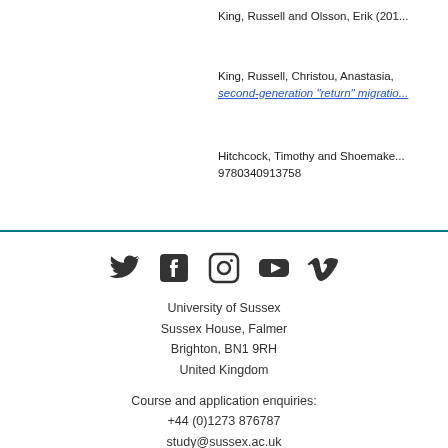King, Russell and Olsson, Erik (201...
King, Russell, Christou, Anastasia, ... second-generation "return" migratio...
Hitchcock, Timothy and Shoemaker... 9780340913758
[Figure (illustration): Social media icons: Twitter, Facebook, Instagram, YouTube, Vimeo]
University of Sussex
Sussex House, Falmer
Brighton, BN1 9RH
United Kingdom
Course and application enquiries:
+44 (0)1273 876787
study@sussex.ac.uk
General enquiries: